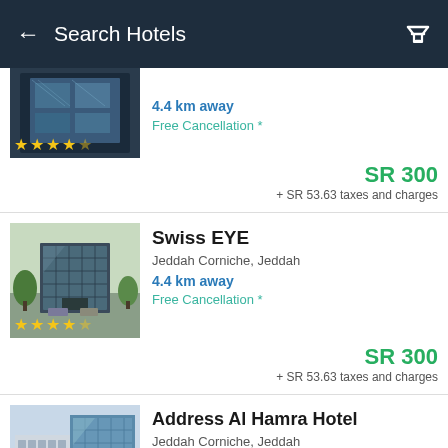Search Hotels
4.4 km away
Free Cancellation *
SR 300
+ SR 53.63 taxes and charges
Swiss EYE
Jeddah Corniche, Jeddah
4.4 km away
Free Cancellation *
SR 300
+ SR 53.63 taxes and charges
Address Al Hamra Hotel
Jeddah Corniche, Jeddah
4.4 km away
Free Cancellation *
SR 300
+ SR 15 taxes and charges